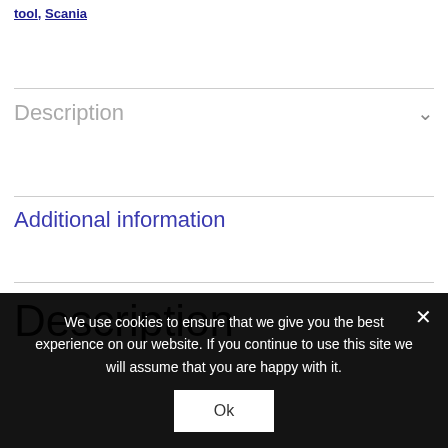tool, Scania
Description
Additional information
Description
We use cookies to ensure that we give you the best experience on our website. If you continue to use this site we will assume that you are happy with it. Ok